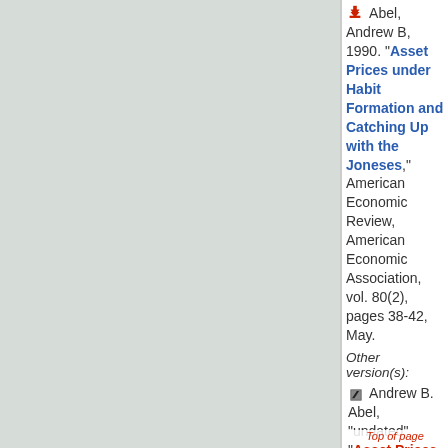Abel, Andrew B, 1990. "Asset Prices under Habit Formation and Catching Up with the Joneses," American Economic Review, American Economic Association, vol. 80(2), pages 38-42, May.
Other version(s):
Andrew B. Abel, "undated". "Asset Prices Under Habit Formation a...